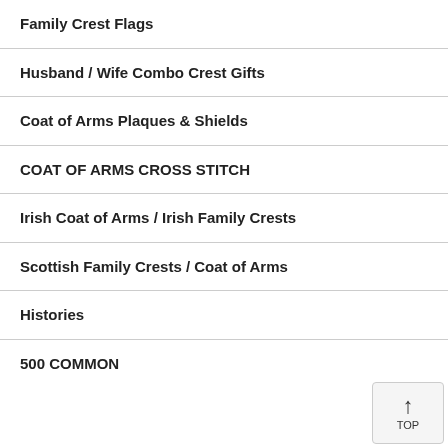Family Crest Flags
Husband / Wife Combo Crest Gifts
Coat of Arms Plaques & Shields
COAT OF ARMS CROSS STITCH
Irish Coat of Arms / Irish Family Crests
Scottish Family Crests / Coat of Arms
Histories
500 COMMON